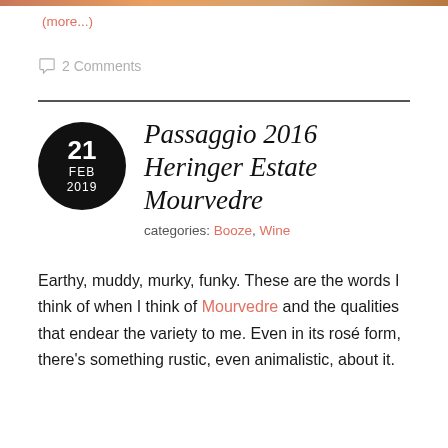[Figure (photo): Partial top strip of a food/wine related photo, cropped at top of page]
(more...)
2 Comments
Passaggio 2016 Heringer Estate Mourvedre
categories: Booze, Wine
Earthy, muddy, murky, funky. These are the words I think of when I think of Mourvedre and the qualities that endear the variety to me. Even in its rosé form, there's something rustic, even animalistic, about it.